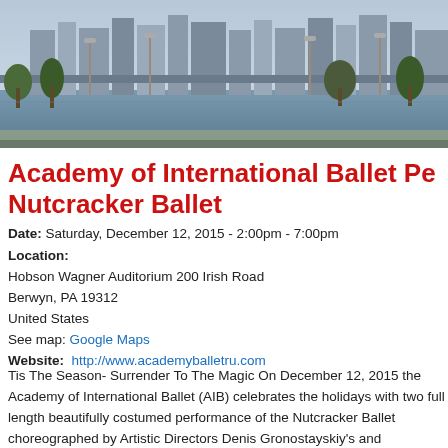[Figure (photo): City skyline with river in foreground, trees and street lamps visible, urban buildings in background]
Academy of International Ballet Pe Nutcracker Ballet
Date:  Saturday, December 12, 2015 - 2:00pm - 7:00pm
Location:
Hobson Wagner Auditorium 200 Irish Road
Berwyn, PA 19312
United States
See map: Google Maps
Website:  http://www.academyballetru.com
Tis The Season- Surrender To The Magic On December 12, 2015 the Academy of International Ballet (AIB) celebrates the holidays with two full length beautifully costumed performance of the Nutcracker Ballet choreographed by Artistic Directors Denis Gronostayskiy's and Anastasia's Babayeva's performed in the finest traditions of the Bolshoi.